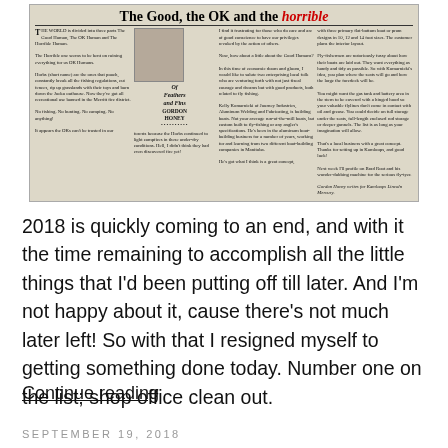[Figure (photo): Scanned newspaper clipping titled 'The Good, the OK and the Horrible' with subtitle 'Of Feathers and Fins' by Gordon Honey, featuring a photo of a man in a hat and columns of text about fly fishing and boat building.]
2018 is quickly coming to an end, and with it the time remaining to accomplish all the little things that I'd been putting off till later.  And I'm not happy about it, cause there's not much later left!  So with that I resigned myself to getting something done today. Number one on the list; shop office clean out.
Continue reading
SEPTEMBER 19, 2018